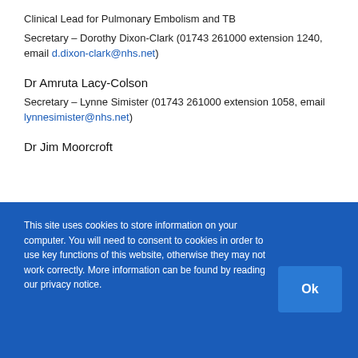Clinical Lead for Pulmonary Embolism and TB
Secretary – Dorothy Dixon-Clark (01743 261000 extension 1240, email d.dixon-clark@nhs.net)
Dr Amruta Lacy-Colson
Secretary – Lynne Simister (01743 261000 extension 1058, email lynnesimister@nhs.net)
Dr Jim Moorcroft
This site uses cookies to store information on your computer. You will need to consent to cookies in order to use key functions of this website, otherwise they may not work correctly. More information can be found by reading our privacy notice.